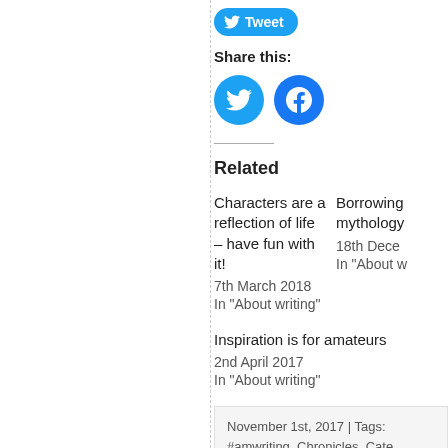[Figure (other): Tweet button with Twitter bird icon in blue rounded pill shape]
Share this:
[Figure (other): Twitter circle icon (blue) and Facebook circle icon (blue) for sharing]
Related
Characters are a reflection of life – have fun with it!
7th March 2018
In "About writing"
Borrowing mythology
18th Dece
In "About w
Inspiration is for amateurs
2nd April 2017
In "About writing"
November 1st, 2017 | Tags: #amwriting, Chronicles, Cate Caruth, Characters, Fic About writing, Characters, Fiction, Inspir